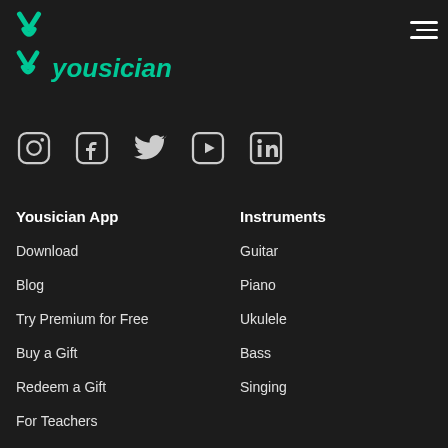[Figure (logo): Yousician logo - green stylized Y icon]
[Figure (illustration): Hamburger menu icon (three horizontal lines)]
Yousician
[Figure (illustration): Social media icons row: Instagram, Facebook, Twitter, YouTube, LinkedIn]
Yousician App
Instruments
Download
Guitar
Blog
Piano
Try Premium for Free
Ukulele
Buy a Gift
Bass
Redeem a Gift
Singing
For Teachers